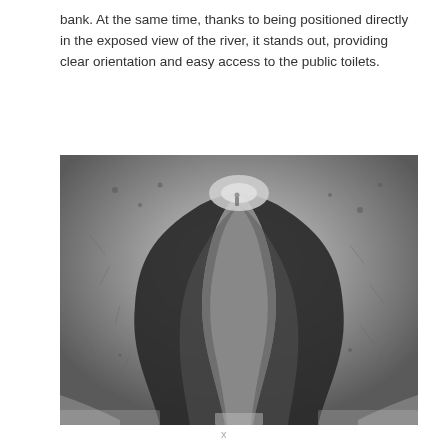bank. At the same time, thanks to being positioned directly in the exposed view of the river, it stands out, providing clear orientation and easy access to the public toilets.
[Figure (photo): Interior view looking upward through a large cylindrical concrete or metal structure, showing curved interlocking forms that divide the interior space into passages, with graffiti marks on the walls and a glimpse of light and a person visible through the opening at the top.]
x